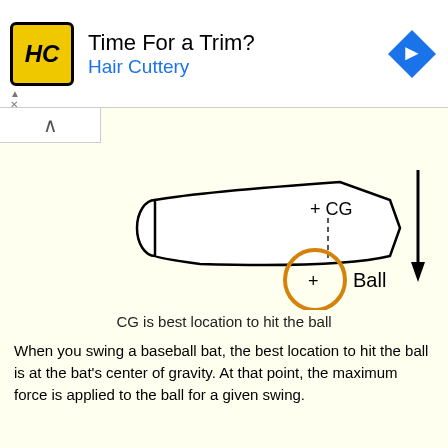[Figure (illustration): Advertisement banner for Hair Cuttery with yellow HC logo, text 'Time For a Trim? Hair Cuttery', and a blue diamond navigation icon]
[Figure (engineering-diagram): Baseball bat diagram with center of gravity (CG) marked with a + and dashed line, and an orange circle labeled 'Ball' below the bat's barrel, with a downward arrow on the right side]
CG is best location to hit the ball
When you swing a baseball bat, the best location to hit the ball is at the bat's center of gravity. At that point, the maximum force is applied to the ball for a given swing.
Summary
The center of gravity (CG) is where all of the weight of an object appears to be concentrated. This point is the average distribution of the weight of the object. The center of gravity...